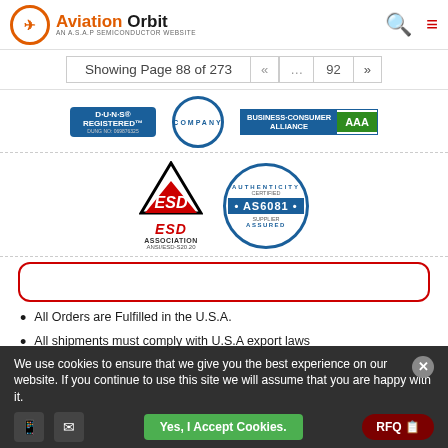[Figure (logo): Aviation Orbit logo - AN A.S.A.P SEMICONDUCTOR WEBSITE with search and menu icons]
Showing Page 88 of 273
[Figure (logo): D-U-N-S Registered badge, COMPANY stamp, BUSINESS CONSUMER ALLIANCE AAA badge]
[Figure (logo): ESD Association ANSI/ESD-S20.20 logo and AUTHENTICITY CERTIFIED AS6081 SUPPLIER ASSURED badge]
All Orders are Fulfilled in the U.S.A.
All shipments must comply with U.S.A export laws
We use cookies to ensure that we give you the best experience on our website. If you continue to use this site we will assume that you are happy with it.